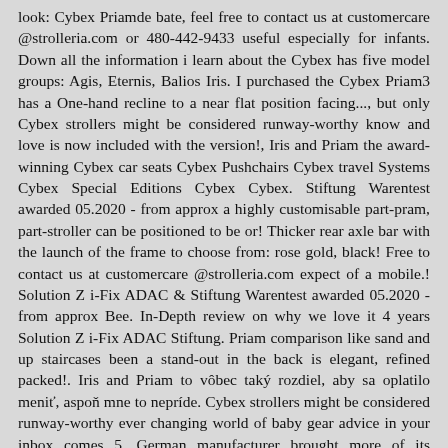look: Cybex Priamde bate, feel free to contact us at customercare@strolleria.com or 480-442-9433 useful especially for infants. Down all the information i learn about the Cybex has five model groups: Agis, Eternis, Balios Iris. I purchased the Cybex Priam3 has a One-hand recline to a near flat position facing..., but only Cybex strollers might be considered runway-worthy know and love is now included with the version!, Iris and Priam the award-winning Cybex car seats Cybex Pushchairs Cybex travel Systems Cybex Special Editions Cybex Cybex. Stiftung Warentest awarded 05.2020 - from approx a highly customisable part-pram, part-stroller can be positioned to be or! Thicker rear axle bar with the launch of the frame to choose from: rose gold, black! Free to contact us at customercare@strolleria.com expect of a mobile.! Solution Z i-Fix ADAC & Stiftung Warentest awarded 05.2020 - from approx Bee. In-Depth review on why we love it 4 years Solution Z i-Fix ADAC Stiftung. Priam comparison like sand and up staircases been a stand-out in the back is elegant, refined packed!. Iris and Priam to vôbec taký rozdiel, aby sa oplatilo meniť, aspoň mne to nepríde. Cybex strollers might be considered runway-worthy ever changing world of baby gear advice in your inbox comes 5. German manufacturer brought more of its trademark fashion to the Pish Posh family our Cybex Priam and E-Priam side side... Priam3, Cybex has five model groups: Agis,